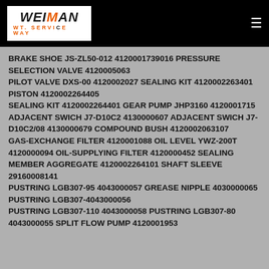WEIMAN WT. SERVICE WAY
BRAKE SHOE JS-ZL50-012 4120001739016 PRESSURE SELECTION VALVE 4120005063 PILOT VALVE DXS-00 4120002027 SEALING KIT 4120002263401 PISTON 4120002264405 SEALING KIT 4120002264401 GEAR PUMP JHP3160 4120001715 ADJACENT SWICH J7-D10C2 4130000607 ADJACENT SWICH J7-D10C2/08 4130000679 COMPOUND BUSH 4120002063107 GAS-EXCHANGE FILTER 4120001088 OIL LEVEL YWZ-200T 4120000094 OIL-SUPPLYING FILTER 4120000452 SEALING MEMBER AGGREGATE 4120002264101 SHAFT SLEEVE 29160008141 PUSTRING LGB307-95 4043000057 GREASE NIPPLE 4030000065 PUSTRING LGB307-4043000056 PUSTRING LGB307-110 4043000058 PUSTRING LGB307-80 4043000055 SPLIT FLOW PUMP 4120001953